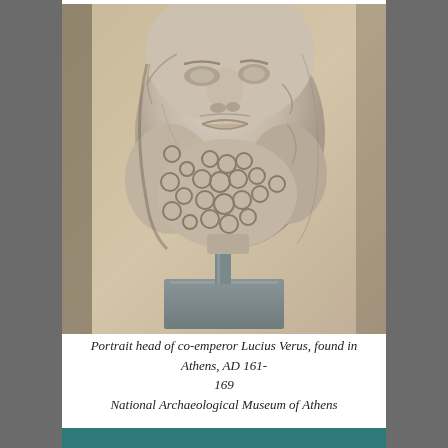[Figure (photo): Marble portrait head of co-emperor Lucius Verus mounted on a metal rod and stone base, showing detailed curly beard and partial face, displayed against a beige/tan gallery background. The sculpture is photographed in a museum setting.]
Portrait head of co-emperor Lucius Verus, found in Athens, AD 161-169
National Archaeological Museum of Athens